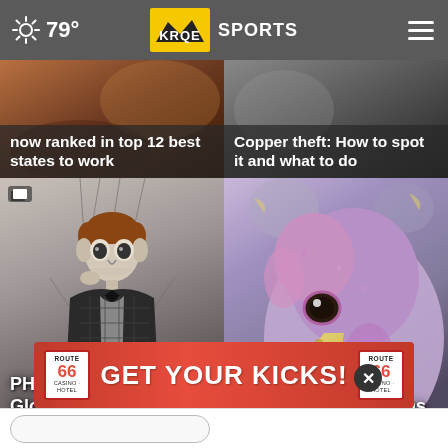79° KRQE SPORTS
now ranked in top 12 best states to work
Copper theft: How to spot it and what to do
[Figure (photo): Puppet figure resembling Old Man Gloom marionette against gray background]
PHOTOS: Old Man Gloom throughout the yea
[Figure (photo): Close-up of a bird (turkey poult or similar) face, bird flu story]
Deadly bird flu returns to the Midwest earlier
[Figure (infographic): Route 66 Casino Hotel advertisement banner: GET YOUR KICKS!]